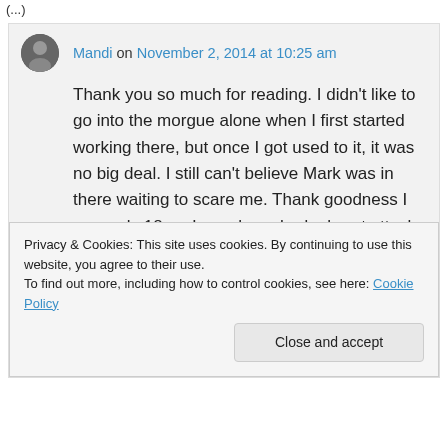(…)
Mandi on November 2, 2014 at 10:25 am
Thank you so much for reading. I didn't like to go into the morgue alone when I first started working there, but once I got used to it, it was no big deal. I still can't believe Mark was in there waiting to scare me. Thank goodness I was only 18, or I may have had a heart attack on the spot.
Privacy & Cookies: This site uses cookies. By continuing to use this website, you agree to their use. To find out more, including how to control cookies, see here: Cookie Policy
Close and accept